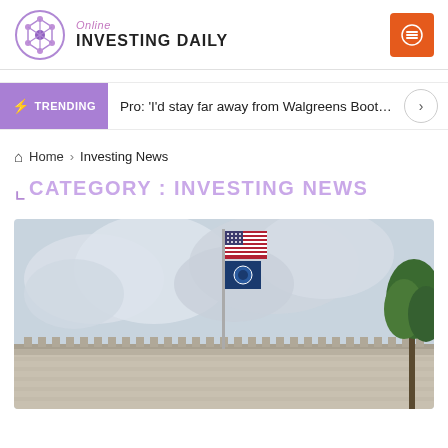Online INVESTING DAILY
Pro: 'I'd stay far away from Walgreens Boots Alliance'
Home > Investing News
CATEGORY : INVESTING NEWS
[Figure (photo): Photograph of a neoclassical government building with an American flag and another flag on a flagpole, against a cloudy sky with a tree visible at right edge.]